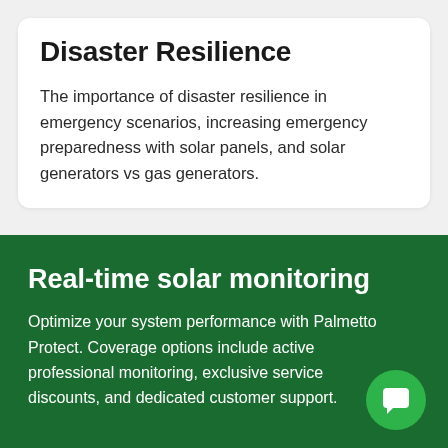Disaster Resilience
The importance of disaster resilience in emergency scenarios, increasing emergency preparedness with solar panels, and solar generators vs gas generators.
Real-time solar monitoring
Optimize your system performance with Palmetto Protect. Coverage options include active professional monitoring, exclusive service discounts, and dedicated customer support.